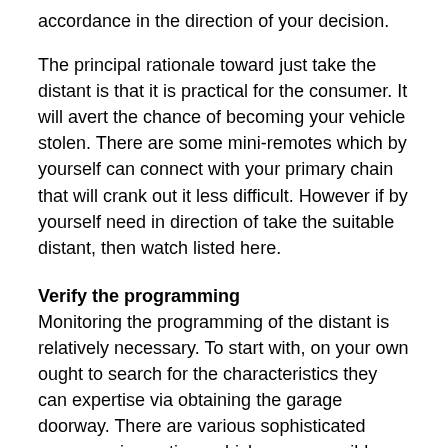accordance in the direction of your decision.
The principal rationale toward just take the distant is that it is practical for the consumer. It will avert the chance of becoming your vehicle stolen. There are some mini-remotes which by yourself can connect with your primary chain that will crank out it less difficult. However if by yourself need in direction of take the suitable distant, then watch listed here.
Verify the programming
Monitoring the programming of the distant is relatively necessary. To start with, on your own ought to search for the characteristics they can expertise via obtaining the garage doorway. There are various sophisticated programming options which are accessible, which offer you on your own numerous advantages. Initial, on your own can visual appeal around those people attributes